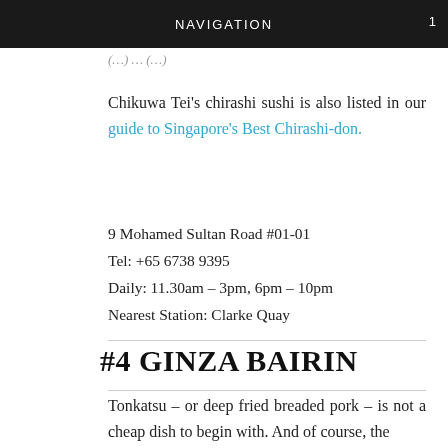NAVIGATION
Chikuwa Tei’s chirashi sushi is also listed in our guide to Singapore’s Best Chirashi-don.
9 Mohamed Sultan Road #01-01
Tel: +65 6738 9395
Daily: 11.30am – 3pm, 6pm – 10pm
Nearest Station: Clarke Quay
#4 GINZA BAIRIN
Tonkatsu – or deep fried breaded pork – is not a cheap dish to begin with. And of course, the